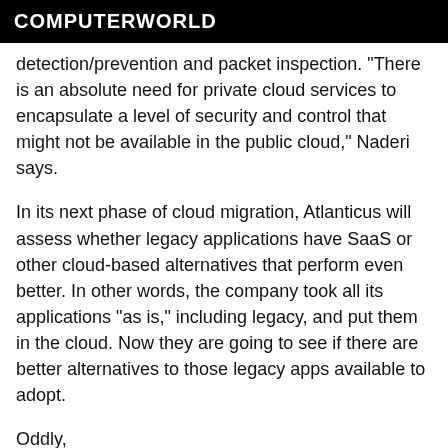COMPUTERWORLD
detection/prevention and packet inspection. "There is an absolute need for private cloud services to encapsulate a level of security and control that might not be available in the public cloud," Naderi says.
In its next phase of cloud migration, Atlanticus will assess whether legacy applications have SaaS or other cloud-based alternatives that perform even better. In other words, the company took all its applications "as is," including legacy, and put them in the cloud. Now they are going to see if there are better alternatives to those legacy apps available to adopt.
Oddly...